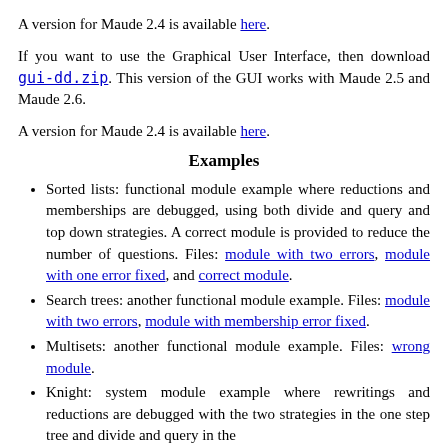A version for Maude 2.4 is available here.
If you want to use the Graphical User Interface, then download gui-dd.zip. This version of the GUI works with Maude 2.5 and Maude 2.6.
A version for Maude 2.4 is available here.
Examples
Sorted lists: functional module example where reductions and memberships are debugged, using both divide and query and top down strategies. A correct module is provided to reduce the number of questions. Files: module with two errors, module with one error fixed, and correct module.
Search trees: another functional module example. Files: module with two errors, module with membership error fixed.
Multisets: another functional module example. Files: wrong module.
Knight: system module example where rewritings and reductions are debugged with the two strategies in the one step tree and divide and query in the